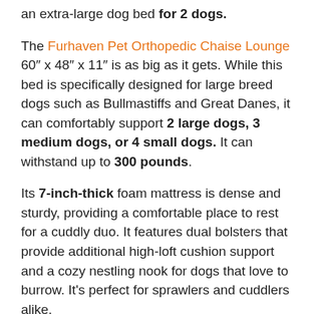an extra-large dog bed for 2 dogs.
The Furhaven Pet Orthopedic Chaise Lounge 60" x 48" x 11" is as big as it gets. While this bed is specifically designed for large breed dogs such as Bullmastiffs and Great Danes, it can comfortably support 2 large dogs, 3 medium dogs, or 4 small dogs. It can withstand up to 300 pounds.
Its 7-inch-thick foam mattress is dense and sturdy, providing a comfortable place to rest for a cuddly duo. It features dual bolsters that provide additional high-loft cushion support and a cozy nestling nook for dogs that love to burrow. It's perfect for sprawlers and cuddlers alike.